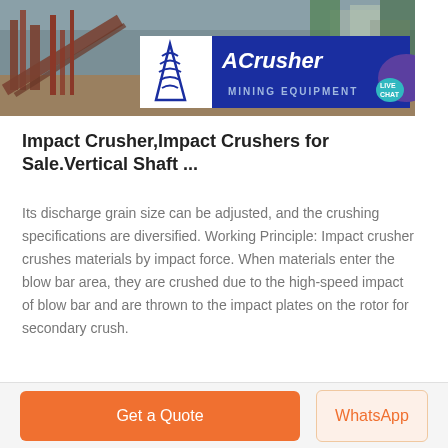[Figure (photo): Mining/crushing facility with industrial machinery, red metal structures, conveyors, and buildings in background. ACrusher Mining Equipment logo overlay on blue background with triangle logo.]
Impact Crusher,Impact Crushers for Sale.Vertical Shaft ...
Its discharge grain size can be adjusted, and the crushing specifications are diversified. Working Principle: Impact crusher crushes materials by impact force. When materials enter the blow bar area, they are crushed due to the high-speed impact of blow bar and are thrown to the impact plates on the rotor for secondary crush.
Get a Quote | WhatsApp